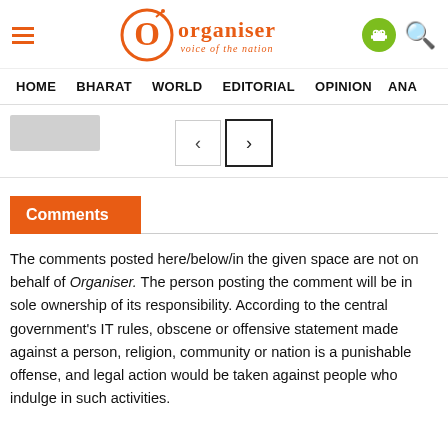Organiser — voice of the nation
HOME   BHARAT   WORLD   EDITORIAL   OPINION   ANA
[Figure (screenshot): Pagination navigation with previous and next arrow buttons, and a thumbnail placeholder on the left]
Comments
The comments posted here/below/in the given space are not on behalf of Organiser. The person posting the comment will be in sole ownership of its responsibility. According to the central government's IT rules, obscene or offensive statement made against a person, religion, community or nation is a punishable offense, and legal action would be taken against people who indulge in such activities.